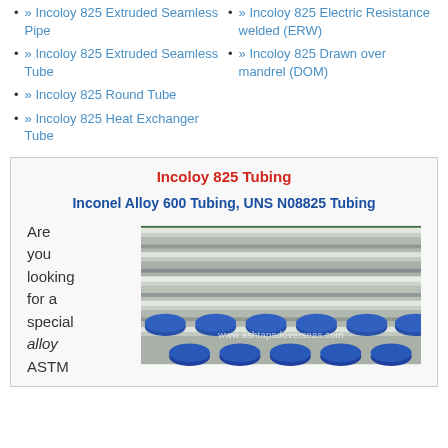» Incoloy 825 Extruded Seamless Pipe
» Incoloy 825 Extruded Seamless Tube
» Incoloy 825 Round Tube
» Incoloy 825 Heat Exchanger Tube
» Incoloy 825 Electric Resistance welded (ERW)
» Incoloy 825 Drawn over mandrel (DOM)
Incoloy 825 Tubing
Inconel Alloy 600 Tubing, UNS N08825 Tubing
Are you looking for a special alloy ASTM
[Figure (photo): Photo of Incoloy 825 tubes/pipes with blue end caps, showing polished metallic surface. Watermark: www.ashtapadoverseas.com]